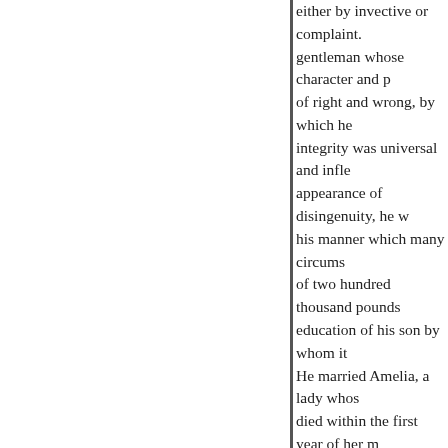either by invective or complaint. gentleman whose character and p of right and wrong, by which he integrity was universal and infle appearance of disingenuity, he w his manner which many circums of two hundred thousand pounds education of his son by whom it He married Amelia, a lady whos died within the first year of her m ed all his affection: he therefore, and dependants about him, he in becomes insensibly habitual to th to please, and whose presence is incurcontempt by arrogating a su accomodated herself as she grew from motives both of affection a spared no cost to complete her's; obedience is cheernot, however f that about this time she was addr estate, had great expectations fro recommended by Agrestis, and w coldness by Amelia: he was surp